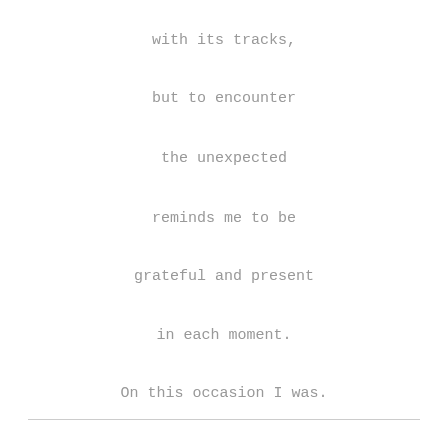with its tracks,
but to encounter
the unexpected
reminds me to be
grateful and present
in each moment.
On this occasion I was.